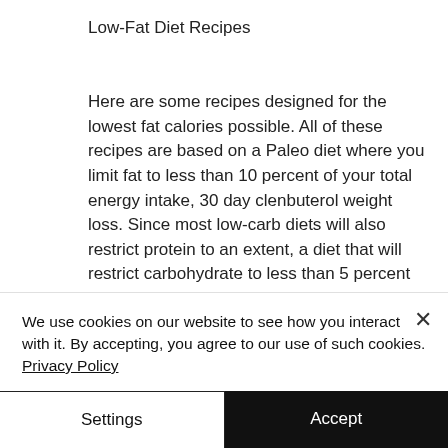Low-Fat Diet Recipes
Here are some recipes designed for the lowest fat calories possible. All of these recipes are based on a Paleo diet where you limit fat to less than 10 percent of your total energy intake, 30 day clenbuterol weight loss. Since most low-carb diets will also restrict protein to an extent, a diet that will restrict carbohydrate to less than 5 percent of your total energy intake will also be a healthy weight loss diet that does not require a ketogenic diet, which peptides are best for
We use cookies on our website to see how you interact with it. By accepting, you agree to our use of such cookies. Privacy Policy
Settings
Accept